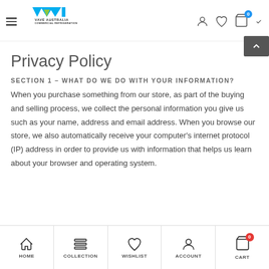[Figure (logo): VAVE AUSTRALIA COMMERCIAL REFRIGERATION logo with blue/teal and green chevron/triangle design]
Privacy Policy
SECTION 1 – WHAT DO WE DO WITH YOUR INFORMATION?
When you purchase something from our store, as part of the buying and selling process, we collect the personal information you give us such as your name, address and email address. When you browse our store, we also automatically receive your computer's internet protocol (IP) address in order to provide us with information that helps us learn about your browser and operating system.
HOME | COLLECTION | WISHLIST | ACCOUNT | CART